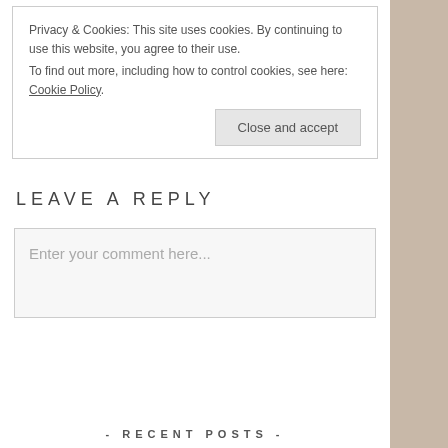Privacy & Cookies: This site uses cookies. By continuing to use this website, you agree to their use.
To find out more, including how to control cookies, see here: Cookie Policy.
Close and accept
LEAVE A REPLY
Enter your comment here...
- RECENT POSTS -
WHAT MAKES A GOOD BOOK CLUB READ?  June 4, 2020